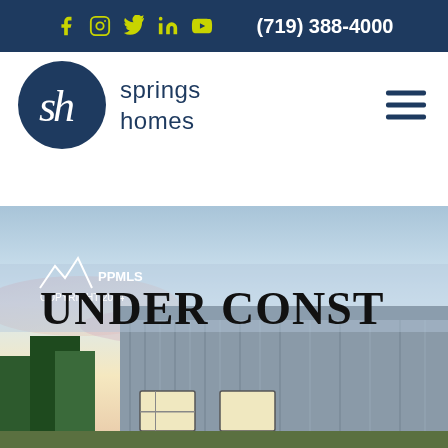(719) 388-4000
[Figure (logo): Springs Homes logo: dark blue circle with stylized 'sh' script lettering in white, beside the text 'springs homes' in dark blue]
[Figure (photo): Photograph of a house under construction at dusk, with gray board-and-batten siding, lit windows, trees in foreground, pink and yellow sky. Overlaid with 'PPMLS COPYRIGHT 2024' watermark and large text 'UNDER CONST' across the top.]